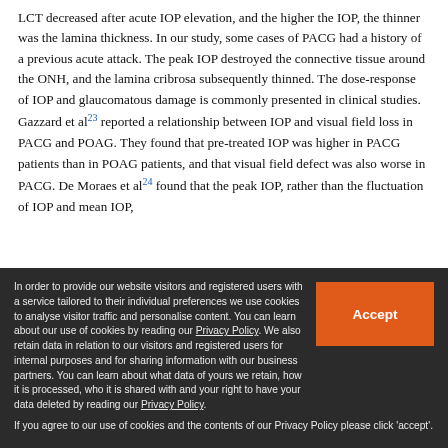LCT decreased after acute IOP elevation, and the higher the IOP, the thinner was the lamina thickness. In our study, some cases of PACG had a history of a previous acute attack. The peak IOP destroyed the connective tissue around the ONH, and the lamina cribrosa subsequently thinned. The dose-response of IOP and glaucomatous damage is commonly presented in clinical studies. Gazzard et al[23] reported a relationship between IOP and visual field loss in PACG and POAG. They found that pre-treated IOP was higher in PACG patients than in POAG patients, and that visual field defect was also worse in PACG. De Moraes et al[24] found that the peak IOP, rather than the fluctuation of IOP and mean IOP,
In order to provide our website visitors and registered users with a service tailored to their individual preferences we use cookies to analyse visitor traffic and personalise content. You can learn about our use of cookies by reading our Privacy Policy. We also retain data in relation to our visitors and registered users for internal purposes and for sharing information with our business partners. You can learn about what data of yours we retain, how it is processed, who it is shared with and your right to have your data deleted by reading our Privacy Policy. If you agree to our use of cookies and the contents of our Privacy Policy please click 'accept'.